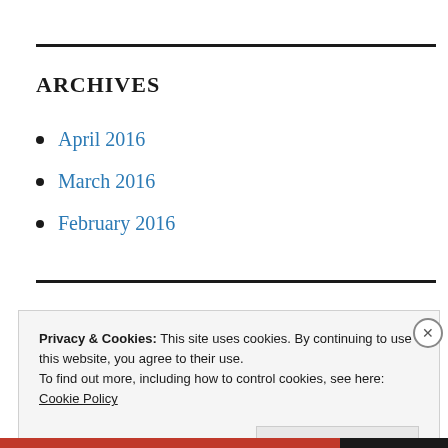ARCHIVES
April 2016
March 2016
February 2016
Privacy & Cookies: This site uses cookies. By continuing to use this website, you agree to their use.
To find out more, including how to control cookies, see here:
Cookie Policy
Close and accept